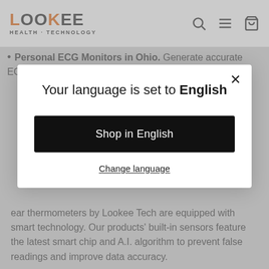LOOKEE HEALTH · TECHNOLOGY
Personal ECG Monitors in Ohio. Generate accurate ECG/EKG readings with just a touch of a button. Users
ear thermometers by Lookee Tech are equipped with smart technology. Our products' built-in sensors feature the latest smart chip and A.I. algorithm to prevent false readings and improve data accuracy.
Your language is set to English
Shop in English
Change language